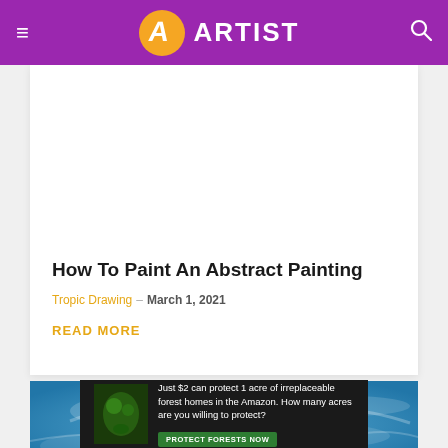ARTIST
[Figure (illustration): White blank card image area at top of article card]
How To Paint An Abstract Painting
Tropic Drawing – March 1, 2021
READ MORE
[Figure (photo): Blue abstract water/paint aerial photo]
[Figure (photo): Advertisement banner: Just $2 can protect 1 acre of irreplaceable forest homes in the Amazon. How many acres are you willing to protect? PROTECT FORESTS NOW]